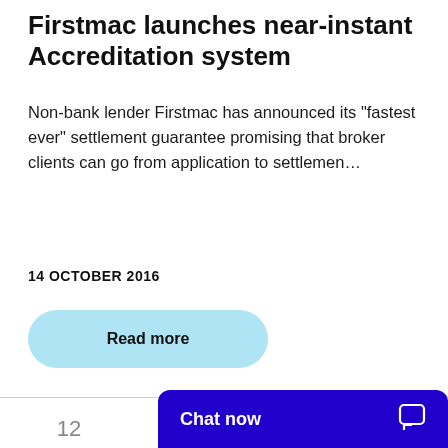Firstmac launches near-instant Accreditation system
Non-bank lender Firstmac has announced its “fastest ever” settlement guarantee promising that broker clients can go from application to settlemen…
14 OCTOBER 2016
Read more
12  13  14  15
Chat now